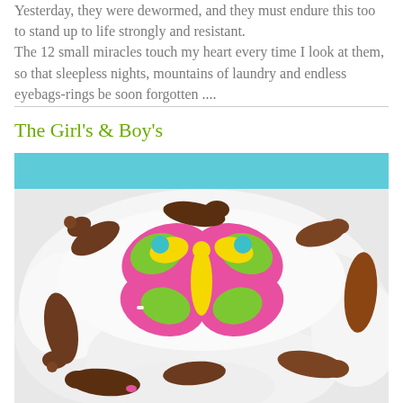Yesterday, they were dewormed, and they must endure this too to stand up to life strongly and resistant. The 12 small miracles touch my heart every time I look at them, so that sleepless nights, mountains of laundry and endless eyebags-rings be soon forgotten ....
The Girl's & Boy's
[Figure (photo): Dachshund puppies lying on a white fluffy rug around a pink butterfly-shaped stuffed toy. The puppies are small and brown/chocolate colored. Some puppies have colored identification bands on their legs.]